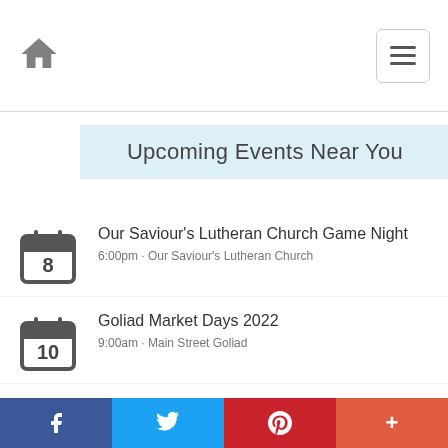Home | Menu
Upcoming Events Near You
Our Saviour's Lutheran Church Game Night
6:00pm · Our Saviour's Lutheran Church
Goliad Market Days 2022
9:00am · Main Street Goliad
RAKtique Grand Opening
12:00pm · RAKtique
2022 Fall Gardening Symposium
Facebook | Twitter | Pinterest | +